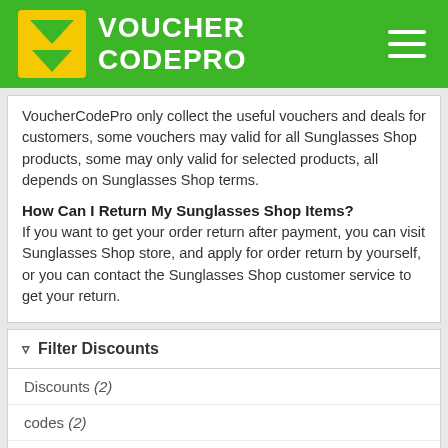VOUCHER CODEPRO
VoucherCodePro only collect the useful vouchers and deals for customers, some vouchers may valid for all Sunglasses Shop products, some may only valid for selected products, all depends on Sunglasses Shop terms.
How Can I Return My Sunglasses Shop Items?
If you want to get your order return after payment, you can visit Sunglasses Shop store, and apply for order return by yourself, or you can contact the Sunglasses Shop customer service to get your return.
Filter Discounts
Discounts (2)
codes (2)
deals (0)